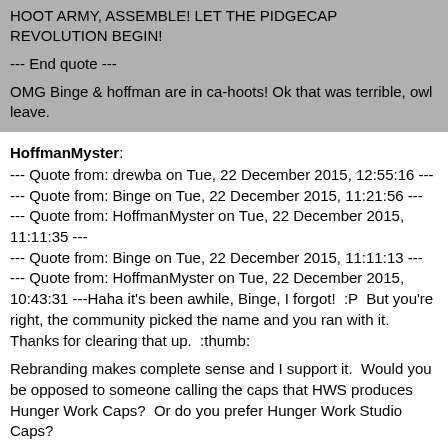HOOT ARMY, ASSEMBLE! LET THE PIDGECAP REVOLUTION BEGIN!
--- End quote ---
OMG Binge & hoffman are in ca-hoots! Ok that was terrible, owl leave.
HoffmanMyster:
--- Quote from: drewba on Tue, 22 December 2015, 12:55:16 ---
--- Quote from: Binge on Tue, 22 December 2015, 11:21:56 ---
--- Quote from: HoffmanMyster on Tue, 22 December 2015, 11:11:35 ---
--- Quote from: Binge on Tue, 22 December 2015, 11:11:13 ---
--- Quote from: HoffmanMyster on Tue, 22 December 2015, 10:43:31 ---Haha it's been awhile, Binge, I forgot!  :P  But you're right, the community picked the name and you ran with it.  Thanks for clearing that up.  :thumb:
Rebranding makes complete sense and I support it.  Would you be opposed to someone calling the caps that HWS produces Hunger Work Caps?  Or do you prefer Hunger Work Studio Caps?
--- End quote ---